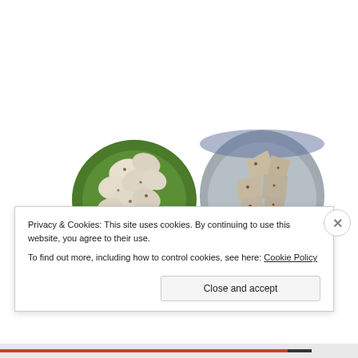[Figure (photo): Two food photos side by side. Left: sheep feta chunks in a green bowl, labeled 'Sheep feta salted with Salish Alderwood Smoked Sea Salt'. Right: goat feta chunks in a blue bowl, labeled 'Goat feta with smoked sea salt'. Below: partial photos of a spice jar (Just A Pinch) and a bowl.]
Privacy & Cookies: This site uses cookies. By continuing to use this website, you agree to their use.
To find out more, including how to control cookies, see here: Cookie Policy
Close and accept